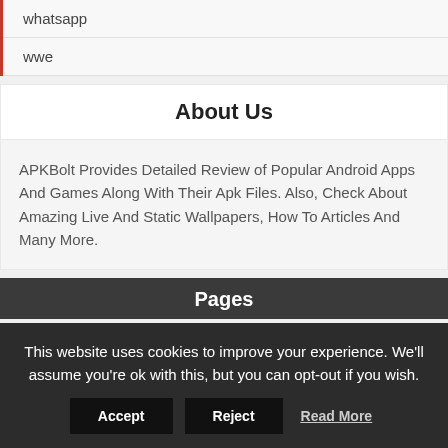whatsapp
wwe
About Us
APKBolt Provides Detailed Review of Popular Android Apps And Games Along With Their Apk Files. Also, Check About Amazing Live And Static Wallpapers, How To Articles And Many More.
Pages
This website uses cookies to improve your experience. We'll assume you're ok with this, but you can opt-out if you wish.